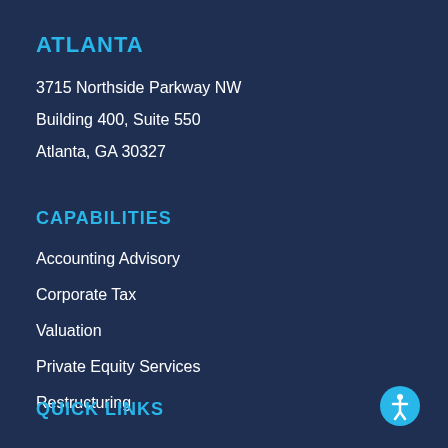ATLANTA
3715 Northside Parkway NW
Building 400, Suite 550
Atlanta, GA 30327
CAPABILITIES
Accounting Advisory
Corporate Tax
Valuation
Private Equity Services
Restructuring
QUICK LINKS